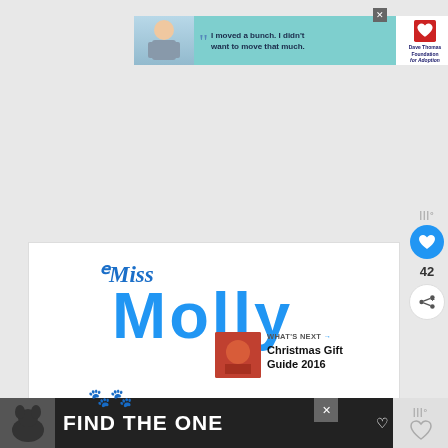[Figure (photo): Advertisement banner: Boy with quote 'I moved a bunch. I didn't want to move that much.' with Dave Thomas Foundation for Adoption logo]
Miss Molly
[Figure (illustration): Paw print icons near bottom of Miss Molly title illustration]
[Figure (photo): WHAT'S NEXT panel with thumbnail image and text 'Christmas Gift Guide 2016']
[Figure (advertisement): Bottom advertisement banner: Dog image with text 'FIND THE ONE' with heart icon]
42
WHAT'S NEXT → Christmas Gift Guide 2016